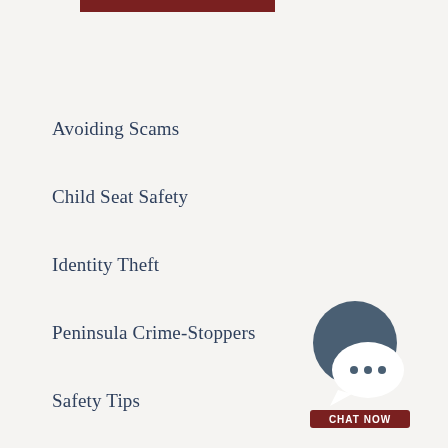[Figure (other): Dark red horizontal bar at top of page]
Avoiding Scams
Child Seat Safety
Identity Theft
Peninsula Crime-Stoppers
Safety Tips
[Figure (illustration): Chat now button with speech bubble icons in dark blue/slate and white, with a dark red 'CHAT NOW' label button beneath]